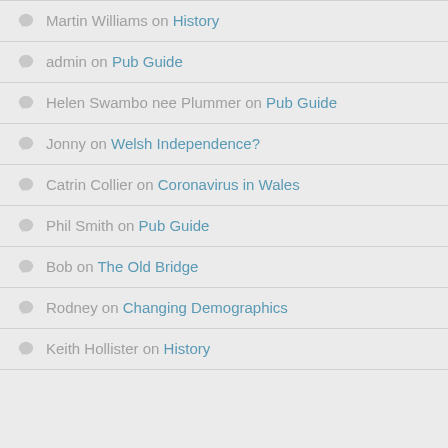Martin Williams on History
admin on Pub Guide
Helen Swambo nee Plummer on Pub Guide
Jonny on Welsh Independence?
Catrin Collier on Coronavirus in Wales
Phil Smith on Pub Guide
Bob on The Old Bridge
Rodney on Changing Demographics
Keith Hollister on History